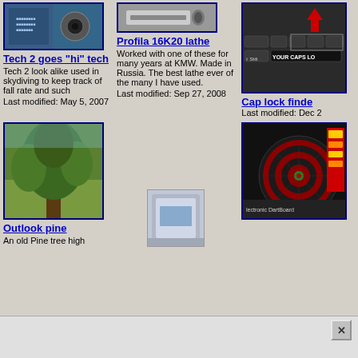[Figure (photo): Tech 2 device thumbnail with blue border, dark circular object visible]
Tech 2 goes "hi" tech
Tech 2 look alike used in skydiving to keep track of fall rate and such
Last modified: May 5, 2007
[Figure (photo): Profila 16K20 lathe thumbnail]
Profila 16K20 lathe
Worked with one of these for many years at KMW. Made in Russia. The best lathe ever of the many I have used.
Last modified: Sep 27, 2008
[Figure (screenshot): Keyboard screenshot showing Shift key and YOUR CAPS LO text with red arrow]
Cap lock finde
Last modified: Dec 2
[Figure (photo): Outlook pine - large old pine tree in forest, blue border]
Outlook pine
An old Pine tree high
[Figure (photo): Small landscape thumbnail icon]
[Figure (photo): Electronic dartboard game screenshot]